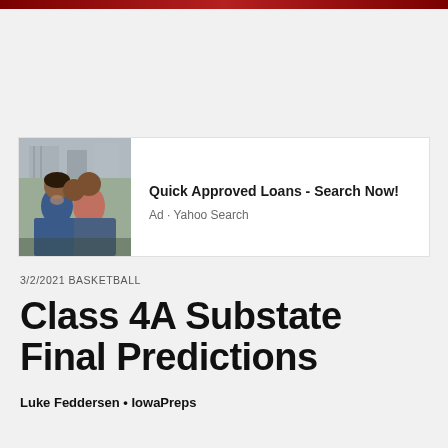[Figure (photo): Advertisement banner with a couple embracing and smiling outdoors. Text reads: Quick Approved Loans - Search Now! Ad · Yahoo Search]
3/2/2021 BASKETBALL
Class 4A Substate Final Predictions
Luke Feddersen • IowaPreps